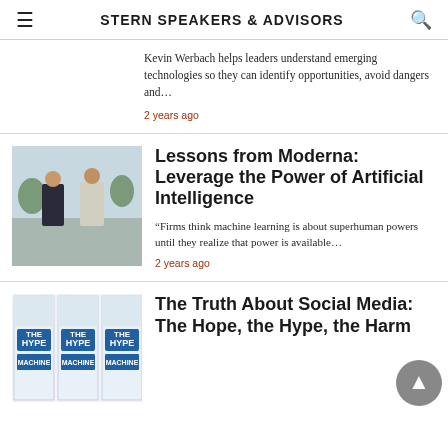STERN SPEAKERS & ADVISORS
Kevin Werbach helps leaders understand emerging technologies so they can identify opportunities, avoid dangers and…
2 years ago
[Figure (photo): Two men standing outdoors in front of a building, one in a dark suit and one in a light grey suit]
Lessons from Moderna: Leverage the Power of Artificial Intelligence
“Firms think machine learning is about superhuman powers until they realize that power is available…
2 years ago
[Figure (photo): Three copies of 'The Hype Machine' book cover shown side by side with blue and white design]
The Truth About Social Media: The Hope, the Hype, the Harm